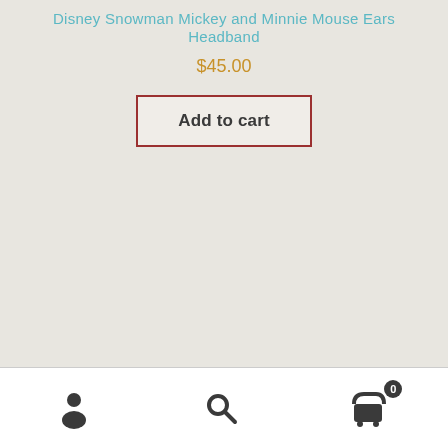Disney Snowman Mickey and Minnie Mouse Ears Headband
$45.00
Add to cart
User icon, Search icon, Cart icon with badge 0